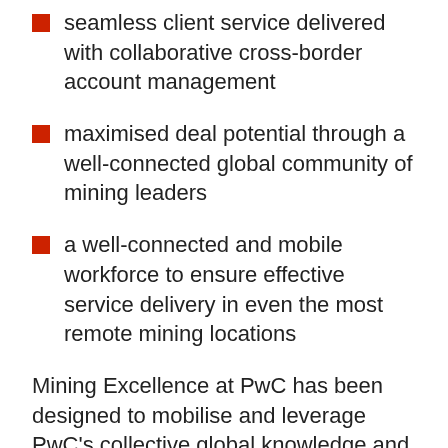seamless client service delivered with collaborative cross-border account management
maximised deal potential through a well-connected global community of mining leaders
a well-connected and mobile workforce to ensure effective service delivery in even the most remote mining locations
Mining Excellence at PwC has been designed to mobilise and leverage PwC's collective global knowledge and connections to deliver an exceptional and tailored client experience, helping